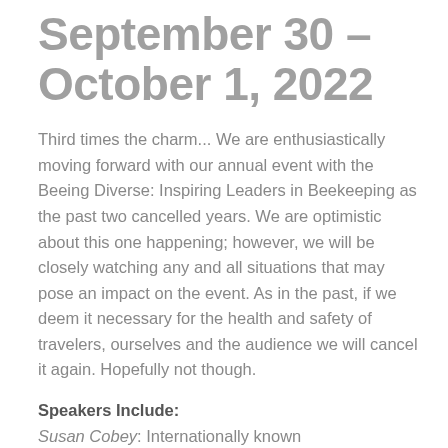September 30 – October 1, 2022
Third times the charm... We are enthusiastically moving forward with our annual event with the Beeing Diverse: Inspiring Leaders in Beekeeping as the past two cancelled years. We are optimistic about this one happening; however, we will be closely watching any and all situations that may pose an impact on the event. As in the past, if we deem it necessary for the health and safety of travelers, ourselves and the audience we will cancel it again. Hopefully not though.
Speakers Include:
Susan Cobey: Internationally known